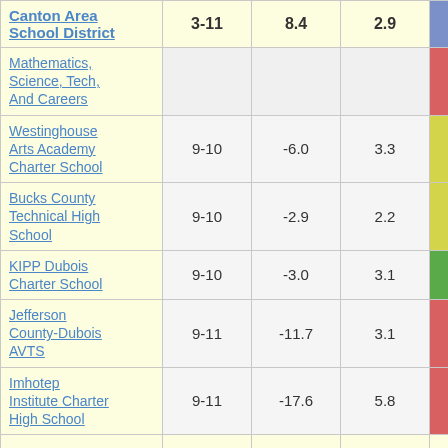| School/District | Grades | Col3 | Col4 | Score |
| --- | --- | --- | --- | --- |
| Canton Area School District | 3-11 | 8.4 | 2.9 | 2.92 |
| Mathematics, Science, Tech, And Careers |  |  |  |  |
| Westinghouse Arts Academy Charter School | 9-10 | -6.0 | 3.3 | -1.81 |
| Bucks County Technical High School | 9-10 | -2.9 | 2.2 | -1.29 |
| KIPP Dubois Charter School | 9-10 | -3.0 | 3.1 | -0.95 |
| Jefferson County-Dubois AVTS | 9-11 | -11.7 | 3.1 | -3.72 |
| Imhotep Institute Charter High School | 9-11 | -17.6 | 5.8 | -3.03 |